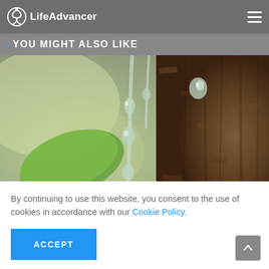LifeAdvancer
YOU MIGHT ALSO LIKE
[Figure (photo): Close-up macro photo of tree resin or sap dripping from tree bark, with a green leaf visible in the soft-focus background.]
By continuing to use this website, you consent to the use of cookies in accordance with our Cookie Policy.
ACCEPT